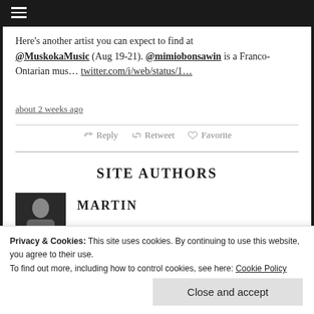≡ (navigation hamburger menu)
Here's another artist you can expect to find at @MuskokaMusic (Aug 19-21). @mimiobonsawin is a Franco-Ontarian mus… twitter.com/i/web/status/1…
about 2 weeks ago
↩ Reply ↻ Retweet ☆ Favorite
SITE AUTHORS
[Figure (photo): Black and white photo of a man, author thumbnail]
MARTIN
Privacy & Cookies: This site uses cookies. By continuing to use this website, you agree to their use.
To find out more, including how to control cookies, see here: Cookie Policy
Close and accept